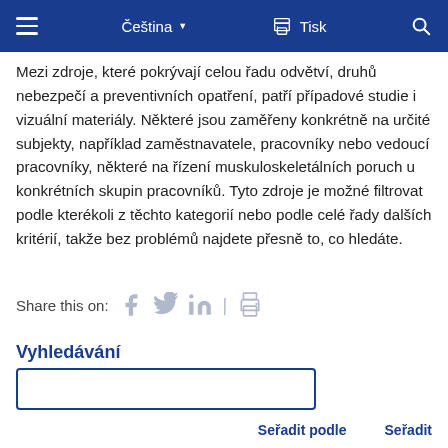Čeština | Tisk
Mezi zdroje, které pokrývají celou řadu odvětví, druhů nebezpečí a preventivních opatření, patří případové studie i vizuální materiály. Některé jsou zaměřeny konkrétně na určité subjekty, například zaměstnavatele, pracovníky nebo vedoucí pracovníky, některé na řízení muskuloskeletálních poruch u konkrétních skupin pracovníků. Tyto zdroje je možné filtrovat podle kterékoli z těchto kategorií nebo podle celé řady dalších kritérií, takže bez problémů najdete přesně to, co hledáte.
Share this on:
Vyhledávání
Seřadit podle   Seřadit